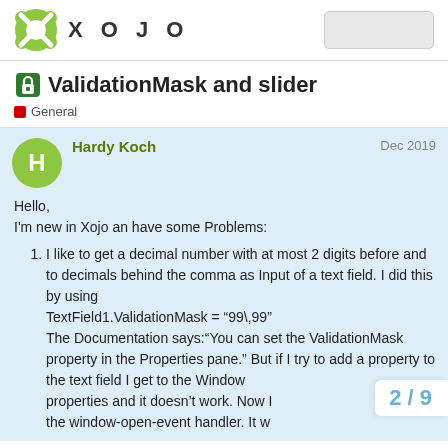XOJO
ValidationMask and slider
General
Hardy Koch
Dec 2019
Hello,
I'm new in Xojo an have some Problems:
I like to get a decimal number with at most 2 digits before and to decimals behind the comma as Input of a text field. I did this by using
TextField1.ValidationMask = “99\,99”
The Documentation says:“You can set the ValidationMask property in the Properties pane.” But if I try to add a property to the text field I get to the Window properties and it doesn't work. Now I the window-open-event handler. It w
2 / 9